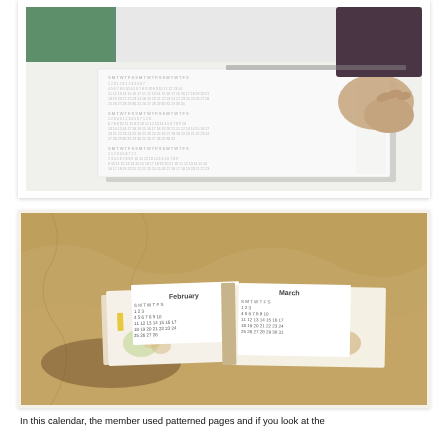[Figure (photo): A person's hands holding a large printed calendar sheet on a white table, with a green cutting mat visible in the background. The sheet shows a full year calendar with multiple months printed in small text.]
[Figure (photo): A small accordion-style mini calendar book lying open on a crinkled brown kraft paper background. The visible pages show February and March calendar months with floral patterned paper decorations.]
In this calendar, the member used patterned pages and if you look at the